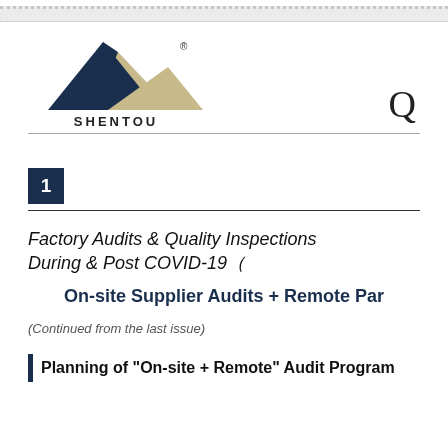[Figure (logo): Shentou company logo with mountain peaks graphic in dark navy and beige/tan colors, with registered trademark symbol, and company name SHENTOU below]
Factory Audits & Quality Inspections During & Post COVID-19
On-site Supplier Audits + Remote Par
(Continued from the last issue)
Planning of "On-site + Remote" Audit Program